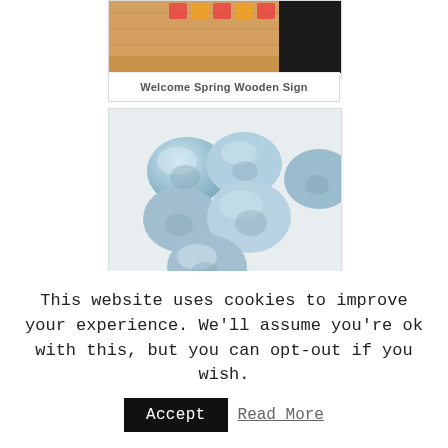[Figure (photo): Product photo of Welcome Spring Wooden Sign on wooden surface with colorful letters in background]
Welcome Spring Wooden Sign
[Figure (photo): Product photo of sparkly blue epoxy resin stones/gems arranged on white background]
Sparkly Blue Epoxy Resin
This website uses cookies to improve your experience. We'll assume you're ok with this, but you can opt-out if you wish.